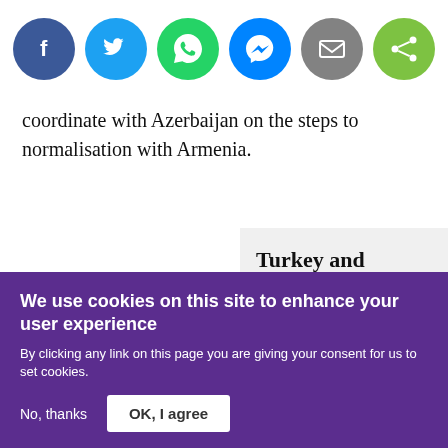[Figure (other): Six social media sharing icons in circles: Facebook (dark blue), Twitter (light blue), WhatsApp (green), Messenger (blue), Email (grey), Share (green)]
coordinate with Azerbaijan on the steps to normalisation with Armenia.
Turkey and Armenia will assign special representatives to
We use cookies on this site to enhance your user experience
By clicking any link on this page you are giving your consent for us to set cookies.